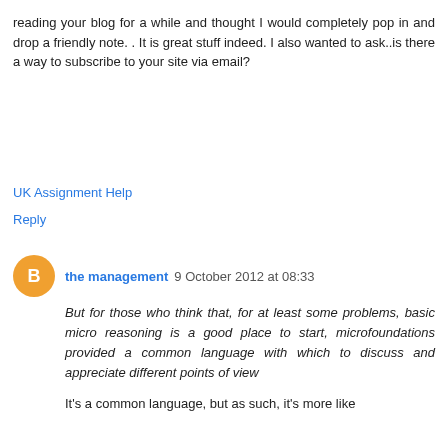reading your blog for a while and thought I would completely pop in and drop a friendly note. . It is great stuff indeed. I also wanted to ask..is there a way to subscribe to your site via email?
UK Assignment Help
Reply
the management 9 October 2012 at 08:33
But for those who think that, for at least some problems, basic micro reasoning is a good place to start, microfoundations provided a common language with which to discuss and appreciate different points of view
It's a common language, but as such, it's more like